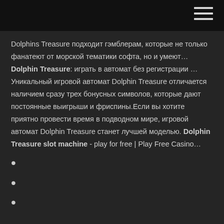Dolphins Treasure подходит гэмблерам, которые не только фанатеют от морской тематики софта, но и умеют… Dolphin Treasure: играть в автомат без регистрации … Уникальный игровой автомат Dolphin Treasure отличается наличием сразу трех бонусных символов, которые дают постоянные выигрыши и фриспины.Если вы хотите приятно провести время в подводном мире, игровой автомат Dolphin Treasure станет лучшей моделью. Dolphin Treasure slot machine - play for free | Play Free Casino…
•
•
•